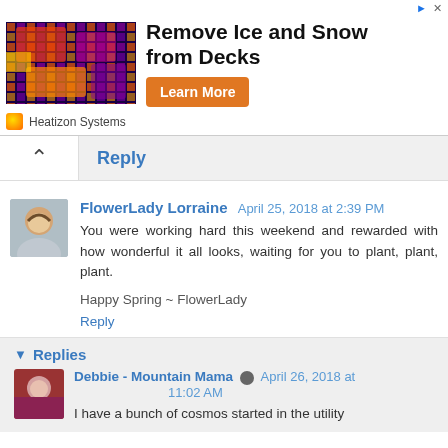[Figure (infographic): Ad banner for Heatizon Systems with thermal/infrared image on left, bold text 'Remove Ice and Snow from Decks', orange Learn More button, and Heatizon Systems logo/brand name at bottom]
Reply
FlowerLady Lorraine April 25, 2018 at 2:39 PM
You were working hard this weekend and rewarded with how wonderful it all looks, waiting for you to plant, plant, plant.

Happy Spring ~ FlowerLady
Reply
Replies
Debbie - Mountain Mama April 26, 2018 at 11:02 AM
I have a bunch of cosmos started in the utility